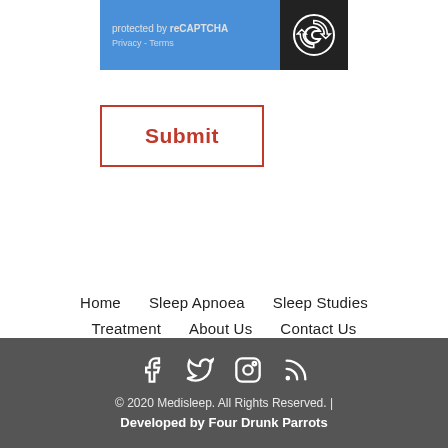[Figure (screenshot): reCAPTCHA widget with blue background showing 'protected by reCAPTCHA' text, Privacy - Terms links, and reCAPTCHA logo on dark background]
Submit
Home   Sleep Apnoea   Sleep Studies   Treatment   About Us   Contact Us   Book Now
© 2020 Medisleep. All Rights Reserved. | Developed by Four Drunk Parrots